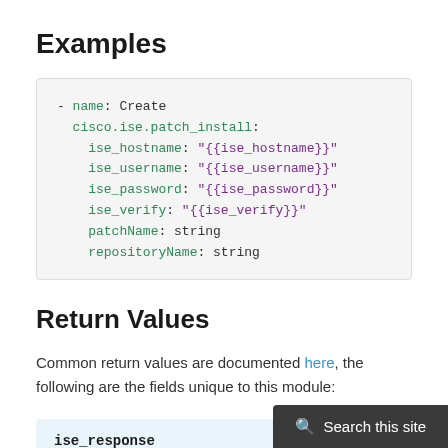Examples
- name: Create
  cisco.ise.patch_install:
    ise_hostname: "{{ise_hostname}}"
    ise_username: "{{ise_username}}"
    ise_password: "{{ise_password}}"
    ise_verify: "{{ise_verify}}"
    patchName: string
    repositoryName: string
Return Values
Common return values are documented here, the following are the fields unique to this module:
ise_response
dictionary